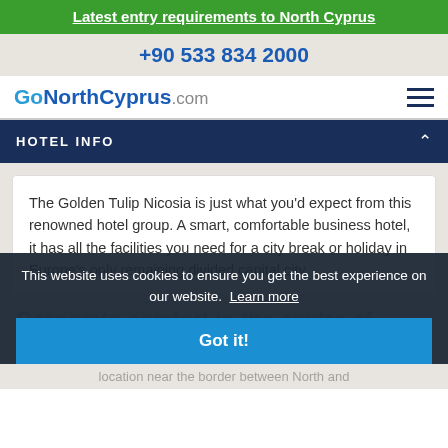Latest entry requirements to North Cyprus
+90 533 834 2000
Go North Cyprus .com
HOTEL INFO
The Golden Tulip Nicosia is just what you'd expect from this renowned hotel group. A smart, comfortable business hotel, it has all the facilities you need for a city break or holiday in Europe's only remaining divided capital city.
Corporate comfort in the centre of Nicosia
This website uses cookies to ensure you get the best experience on our website. Learn more
Got it!
location near the border between North and